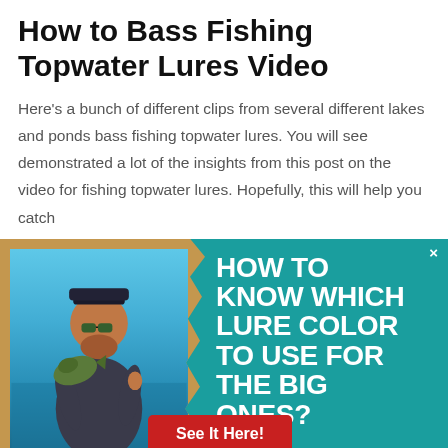How to Bass Fishing Topwater Lures Video
Here's a bunch of different clips from several different lakes and ponds bass fishing topwater lures. You will see demonstrated a lot of the insights from this post on the video for fishing topwater lures. Hopefully, this will help you catch
[Figure (infographic): Advertisement banner with a photo of a man holding a large bass fish on the left (torn paper style), and teal background on the right with bold white text reading 'HOW TO KNOW WHICH LURE COLOR TO USE FOR THE BIG ONES?' with a red 'See It Here!' button and an X close button.]